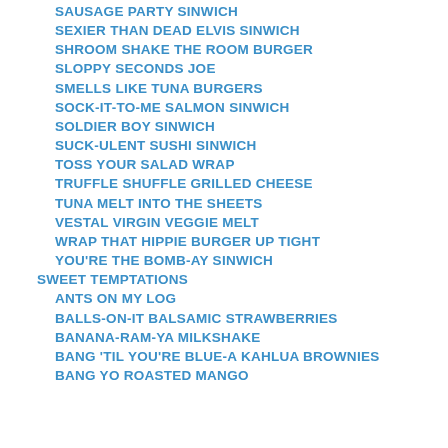SAUSAGE PARTY SINWICH
SEXIER THAN DEAD ELVIS SINWICH
SHROOM SHAKE THE ROOM BURGER
SLOPPY SECONDS JOE
SMELLS LIKE TUNA BURGERS
SOCK-IT-TO-ME SALMON SINWICH
SOLDIER BOY SINWICH
SUCK-ULENT SUSHI SINWICH
TOSS YOUR SALAD WRAP
TRUFFLE SHUFFLE GRILLED CHEESE
TUNA MELT INTO THE SHEETS
VESTAL VIRGIN VEGGIE MELT
WRAP THAT HIPPIE BURGER UP TIGHT
YOU'RE THE BOMB-AY SINWICH
SWEET TEMPTATIONS
ANTS ON MY LOG
BALLS-ON-IT BALSAMIC STRAWBERRIES
BANANA-RAM-YA MILKSHAKE
BANG 'TIL YOU'RE BLUE-A KAHLUA BROWNIES
BANG YO ROASTED MANGO